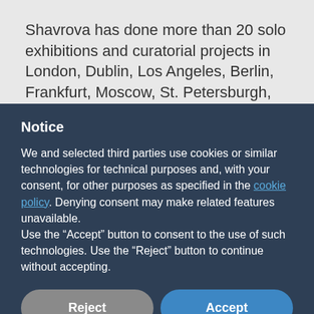Shavrova has done more than 20 solo exhibitions and curatorial projects in London, Dublin, Los Angeles, Berlin, Frankfurt, Moscow, St. Petersburgh, Shanghai and Beijing. She has received a number of awards including a fellowship from Ballinglen Arts Foundation
Notice
We and selected third parties use cookies or similar technologies for technical purposes and, with your consent, for other purposes as specified in the cookie policy. Denying consent may make related features unavailable.
Use the "Accept" button to consent to the use of such technologies. Use the "Reject" button to continue without accepting.